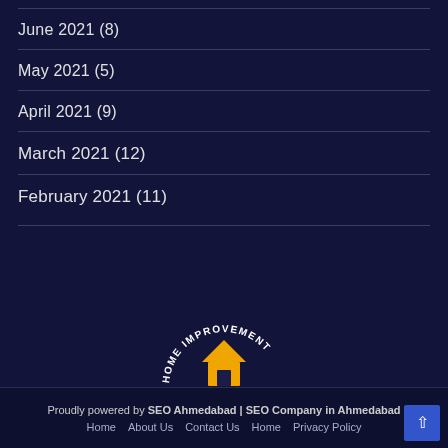June 2021 (8)
May 2021 (5)
April 2021 (9)
March 2021 (12)
February 2021 (11)
[Figure (logo): Home Improvement Talk logo with a house icon in yellow/orange and curved text reading HOME IMPROVEMENT around the top and Talk below]
Proudly powered by SEO Ahmedabad | SEO Company in Ahmedabad  Home  About Us  Contact Us  Home  Privacy Policy